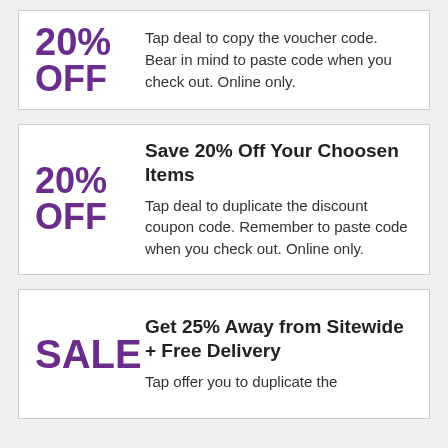Tap deal to copy the voucher code. Bear in mind to paste code when you check out. Online only.
Save 20% Off Your Choosen Items
Tap deal to duplicate the discount coupon code. Remember to paste code when you check out. Online only.
Get 25% Away from Sitewide + Free Delivery
Tap offer you to duplicate the